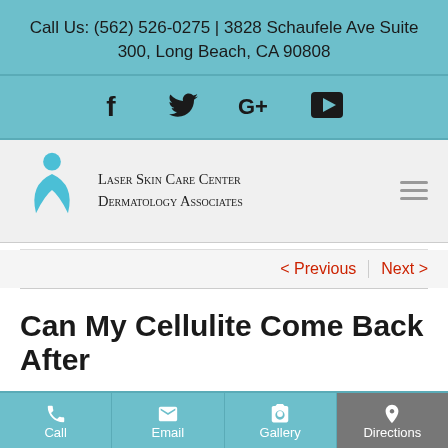Call Us: (562) 526-0275 | 3828 Schaufele Ave Suite 300, Long Beach, CA 90808
[Figure (infographic): Social media icons: Facebook, Twitter, Google+, YouTube]
[Figure (logo): Laser Skin Care Center Dermatology Associates logo with teal figure icon]
< Previous   Next >
Can My Cellulite Come Back After
Call | Email | Gallery | Directions